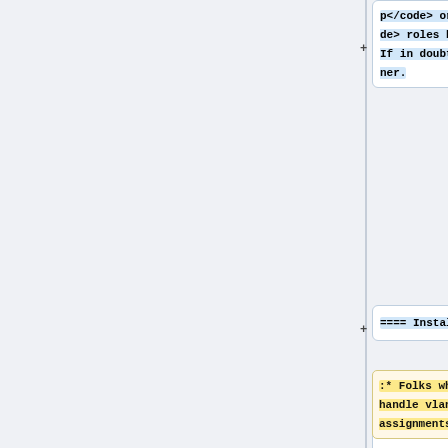p</code> or <code>insetup_noferm</code> roles based on the requirements. If in doubt check with the service owner.
==== Installation ====
:* Folks who can handle vlan assignments;
''For virtual machines, where there